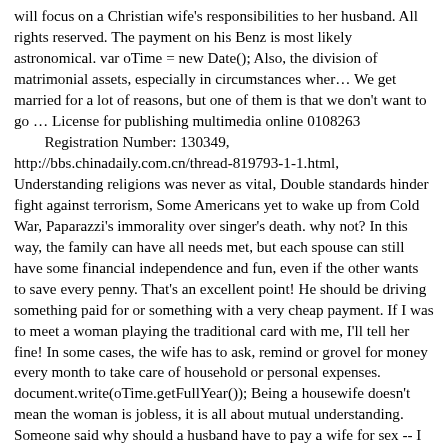will focus on a Christian wife's responsibilities to her husband. All rights reserved. The payment on his Benz is most likely astronomical. var oTime = new Date(); Also, the division of matrimonial assets, especially in circumstances wher… We get married for a lot of reasons, but one of them is that we don't want to go … License for publishing multimedia online 0108263
        Registration Number: 130349,
http://bbs.chinadaily.com.cn/thread-819793-1-1.html,
Understanding religions was never as vital, Double standards hinder fight against terrorism, Some Americans yet to wake up from Cold War, Paparazzi's immorality over singer's death. why not? In this way, the family can have all needs met, but each spouse can still have some financial independence and fun, even if the other wants to save every penny. That's an excellent point! He should be driving something paid for or something with a very cheap payment. If I was to meet a woman playing the traditional card with me, I'll tell her fine! In some cases, the wife has to ask, remind or grovel for money every month to take care of household or personal expenses. document.write(oTime.getFullYear()); Being a housewife doesn't mean the woman is jobless, it is all about mutual understanding. Someone said why should a husband have to pay a wife for sex -- I 100% don't think that spouses should have to pay for it with actual money or foot rubs or whatever. In many marriages, the husband shares money, but not information regarding his salary, spending or investments. The original